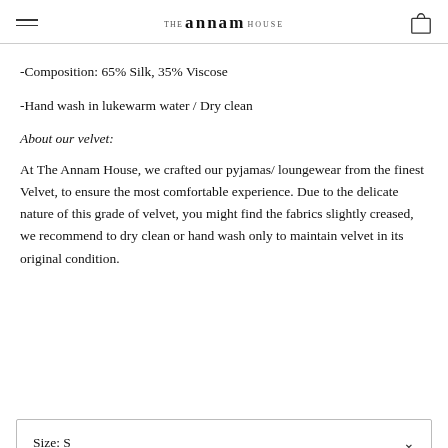THE annam HOUSE
-Composition: 65% Silk, 35% Viscose
-Hand wash in lukewarm water / Dry clean
About our velvet:
At The Annam House, we crafted our pyjamas/ loungewear from the finest Velvet, to ensure the most comfortable experience. Due to the delicate nature of this grade of velvet, you might find the fabrics slightly creased, we recommend to dry clean or hand wash only to maintain velvet in its original condition.
Size: S